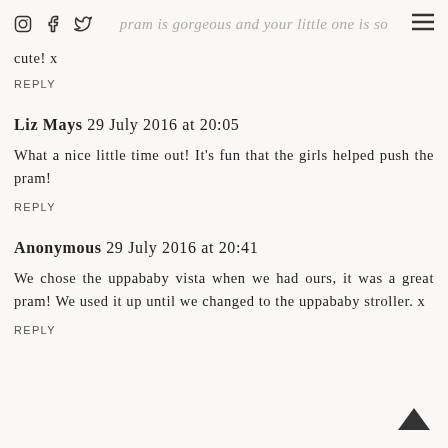Instagram | Facebook | Twitter | pram is gorgeous and your little one is so cute! x
cute! x
REPLY
Liz Mays 29 July 2016 at 20:05
What a nice little time out! It's fun that the girls helped push the pram!
REPLY
Anonymous 29 July 2016 at 20:41
We chose the uppababy vista when we had ours, it was a great pram! We used it up until we changed to the uppababy stroller. x
REPLY